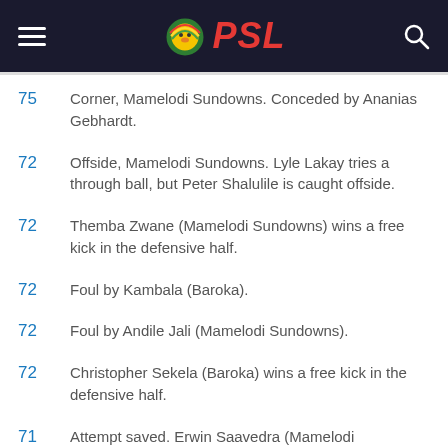PSL
75  Corner, Mamelodi Sundowns. Conceded by Ananias Gebhardt.
72  Offside, Mamelodi Sundowns. Lyle Lakay tries a through ball, but Peter Shalulile is caught offside.
72  Themba Zwane (Mamelodi Sundowns) wins a free kick in the defensive half.
72  Foul by Kambala (Baroka).
72  Foul by Andile Jali (Mamelodi Sundowns).
72  Christopher Sekela (Baroka) wins a free kick in the defensive half.
71  Attempt saved. Erwin Saavedra (Mamelodi Sundowns) right footed shot from outside the box is saved in the top right. Assisted by Lesedi Kapinga.